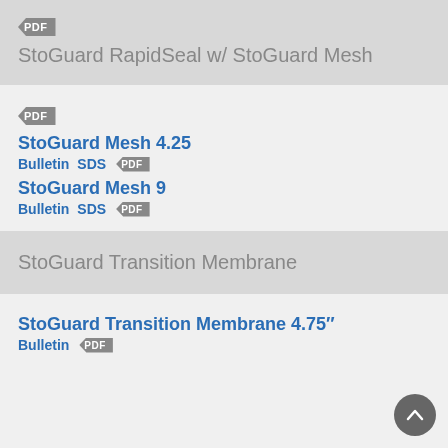[Figure (other): PDF badge icon]
StoGuard RapidSeal w/ StoGuard Mesh
[Figure (other): PDF badge icon]
StoGuard Mesh 4.25
Bulletin  SDS  PDF
StoGuard Mesh 9
Bulletin  SDS  PDF
StoGuard Transition Membrane
StoGuard Transition Membrane 4.75"
Bulletin  PDF